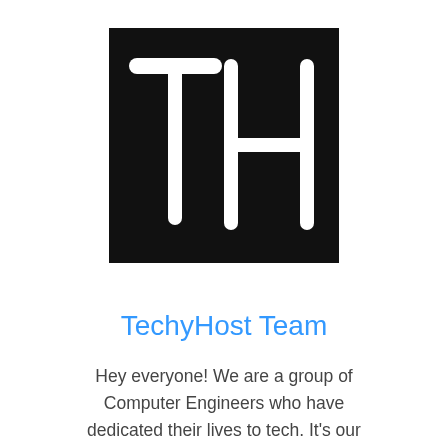[Figure (logo): Black square logo with white hand-written letters TH]
TechyHost Team
Hey everyone! We are a group of Computer Engineers who have dedicated their lives to tech. It's our dream to make sure that all the updates in the tech world reach everyone is simple words. Hope you have a good time on the blog! 🙂